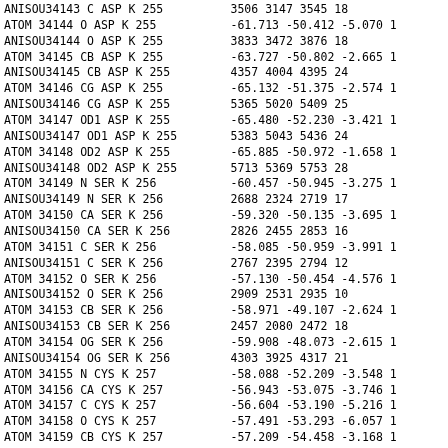| ANISOU34143 | C    ASP K 255 | 3506    3147    3545     18 |
| ATOM   34144 | O    ASP K 255 | -61.713 -50.412  -5.070  1 |
| ANISOU34144 | O    ASP K 255 | 3833    3472    3876     18 |
| ATOM   34145 | CB   ASP K 255 | -63.727 -50.802  -2.665  1 |
| ANISOU34145 | CB   ASP K 255 | 4357    4004    4395     24 |
| ATOM   34146 | CG   ASP K 255 | -65.132 -51.375  -2.574  1 |
| ANISOU34146 | CG   ASP K 255 | 5365    5020    5409     25 |
| ATOM   34147 | OD1  ASP K 255 | -65.480 -52.230  -3.421  1 |
| ANISOU34147 | OD1  ASP K 255 | 5383    5043    5436     24 |
| ATOM   34148 | OD2  ASP K 255 | -65.885 -50.972  -1.658  1 |
| ANISOU34148 | OD2  ASP K 255 | 5713    5369    5753     28 |
| ATOM   34149 | N    SER K 256 | -60.457 -50.945  -3.275  1 |
| ANISOU34149 | N    SER K 256 | 2688    2324    2719     17 |
| ATOM   34150 | CA   SER K 256 | -59.320 -50.135  -3.695  1 |
| ANISOU34150 | CA   SER K 256 | 2826    2455    2853     16 |
| ATOM   34151 | C    SER K 256 | -58.085 -50.959  -3.991  1 |
| ANISOU34151 | C    SER K 256 | 2767    2395    2794     12 |
| ATOM   34152 | O    SER K 256 | -57.130 -50.454  -4.576  1 |
| ANISOU34152 | O    SER K 256 | 2909    2531    2935     10 |
| ATOM   34153 | CB   SER K 256 | -58.971 -49.107  -2.624  1 |
| ANISOU34153 | CB   SER K 256 | 2457    2080    2472     18 |
| ATOM   34154 | OG   SER K 256 | -59.908 -48.073  -2.615  1 |
| ANISOU34154 | OG   SER K 256 | 4303    3925    4317     21 |
| ATOM   34155 | N    CYS K 257 | -58.088 -52.209  -3.548  1 |
| ATOM   34156 | CA   CYS K 257 | -56.943 -53.075  -3.746  1 |
| ATOM   34157 | C    CYS K 257 | -56.604 -53.190  -5.216  1 |
| ATOM   34158 | O    CYS K 257 | -57.491 -53.293  -6.057  1 |
| ATOM   34159 | CB   CYS K 257 | -57.209 -54.458  -3.168  1 |
| ATOM   34160 | SG   CYS K 257 | -55.886 -55.612  -3.527  1 |